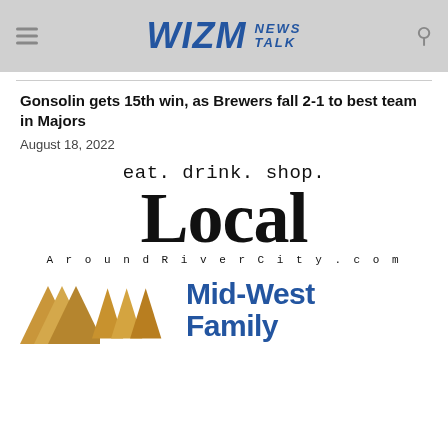WIZM NEWS TALK
Gonsolin gets 15th win, as Brewers fall 2-1 to best team in Majors
August 18, 2022
[Figure (logo): eat. drink. shop. Local - AroundRiverCity.com advertisement logo]
[Figure (logo): Mid-West Family logo with gold triangle shapes]